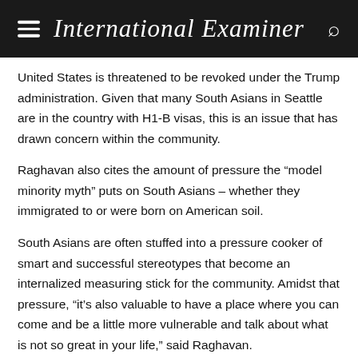International Examiner
United States is threatened to be revoked under the Trump administration. Given that many South Asians in Seattle are in the country with H1-B visas, this is an issue that has drawn concern within the community.
Raghavan also cites the amount of pressure the “model minority myth” puts on South Asians – whether they immigrated to or were born on American soil.
South Asians are often stuffed into a pressure cooker of smart and successful stereotypes that become an internalized measuring stick for the community. Amidst that pressure, “it’s also valuable to have a place where you can come and be a little more vulnerable and talk about what is not so great in your life,” said Raghavan.